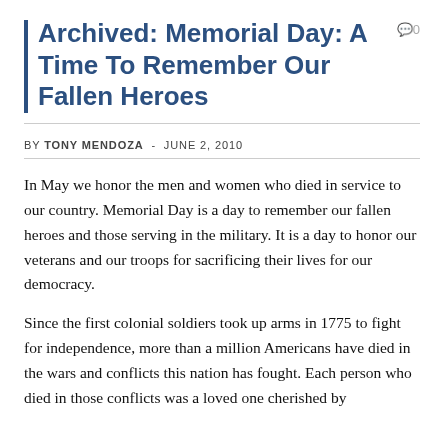Archived: Memorial Day: A Time To Remember Our Fallen Heroes
BY TONY MENDOZA  -  JUNE 2, 2010
In May we honor the men and women who died in service to our country. Memorial Day is a day to remember our fallen heroes and those serving in the military. It is a day to honor our veterans and our troops for sacrificing their lives for our democracy.
Since the first colonial soldiers took up arms in 1775 to fight for independence, more than a million Americans have died in the wars and conflicts this nation has fought. Each person who died in those conflicts was a loved one cherished by